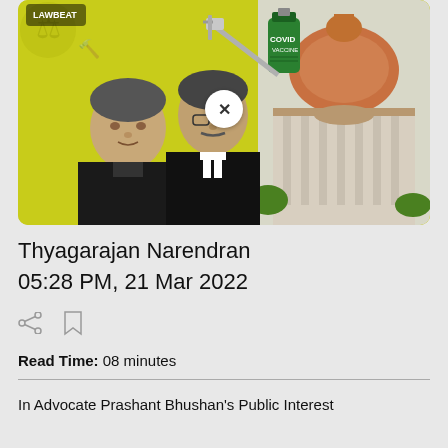[Figure (photo): A composite image showing two men (advocates/lawyers) in the foreground against a yellow-green background, with a COVID vaccine bottle and syringe, and the Supreme Court of India building on the right. A white circular close button with an X is overlaid in the center.]
Thyagarajan Narendran
05:28 PM, 21 Mar 2022
Read Time: 08 minutes
In Advocate Prashant Bhushan's Public Interest